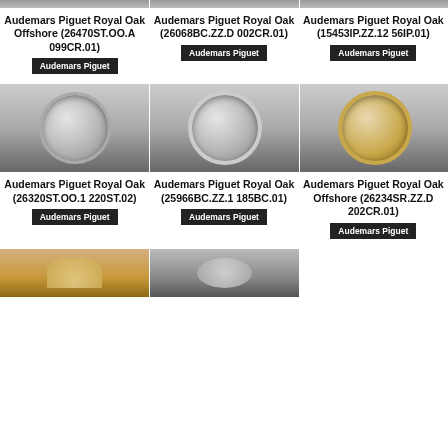[Figure (photo): Audemars Piguet Royal Oak Offshore watch photo (partial top)]
[Figure (photo): Audemars Piguet Royal Oak watch photo (partial top)]
[Figure (photo): Audemars Piguet Royal Oak watch photo (partial top)]
Audemars Piguet Royal Oak Offshore (26470ST.OO.A099CR.01)
Audemars Piguet Royal Oak (26068BC.ZZ.D002CR.01)
Audemars Piguet Royal Oak (15453IP.ZZ.1256IP.01)
Audemars Piguet
Audemars Piguet
Audemars Piguet
[Figure (photo): Audemars Piguet Royal Oak steel chronograph watch]
[Figure (photo): Audemars Piguet Royal Oak chronograph watch with diamond bezel]
[Figure (photo): Audemars Piguet Royal Oak Offshore rose gold chronograph watch]
Audemars Piguet Royal Oak (26320ST.OO.1220ST.02)
Audemars Piguet Royal Oak (25966BC.ZZ.1185BC.01)
Audemars Piguet Royal Oak Offshore (26234SR.ZZ.D202CR.01)
Audemars Piguet
Audemars Piguet
Audemars Piguet
[Figure (photo): Audemars Piguet watch partial bottom (rose gold)]
[Figure (photo): Audemars Piguet watch partial bottom (dark)]